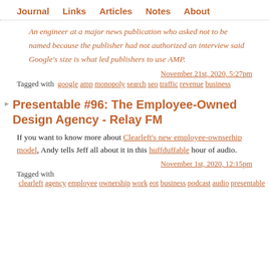Journal   Links   Articles   Notes   About
An engineer at a major news publication who asked not to be named because the publisher had not authorized an interview said Google's size is what led publishers to use AMP.
November 21st, 2020, 5:27pm
Tagged with google amp monopoly search seo traffic revenue business
Presentable #96: The Employee-Owned Design Agency - Relay FM
If you want to know more about Clearleft's new employee-ownserhip model, Andy tells Jeff all about it in this huffduffable hour of audio.
November 1st, 2020, 12:15pm
Tagged with clearleft agency employee ownership work eot business podcast audio presentable